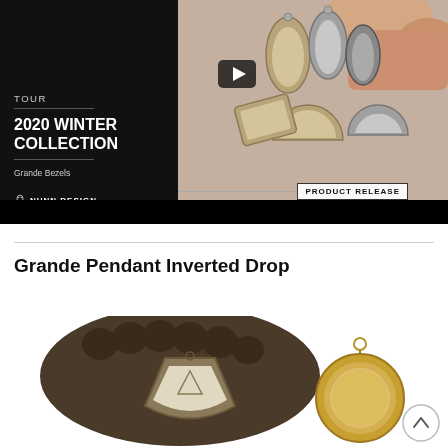[Figure (screenshot): Video thumbnail for Nunn Design 2020 Winter Collection Tour featuring Grande Bezels. Left half is black with white text 'TOUR', '2020 WINTER COLLECTION', 'Grande Bezels', Nunn Design logo. Right half shows hands holding various bezel pendant shapes in gold and silver tones. Play button in center. 'PRODUCT RELEASE' banner at bottom right.]
Grande Pendant Inverted Drop
[Figure (photo): Two product photos: left shows a bronze/antique inverted drop pendant bezel with geometric shapes on a beaded/ridged display; right shows a gold round pendant bezel with a loop at top.]